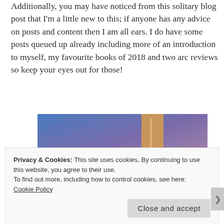Additionally, you may have noticed from this solitary blog post that I'm a little new to this; if anyone has any advice on posts and content then I am all ears. I do have some posts queued up already including more of an introduction to myself, my favourite books of 2018 and two arc reviews so keep your eyes out for those!
[Figure (illustration): Partial image of a book cover with blue to purple gradient background and a tan/brown bookmark or spine visible]
Privacy & Cookies: This site uses cookies. By continuing to use this website, you agree to their use.
To find out more, including how to control cookies, see here:
Cookie Policy
Close and accept